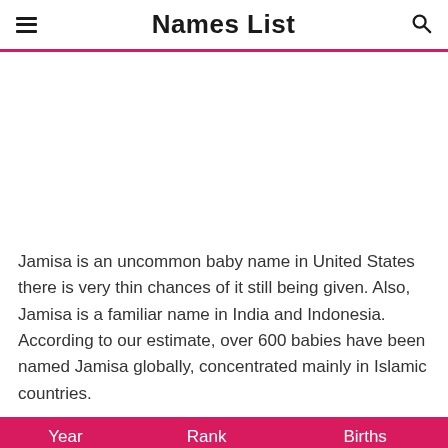Names List
[Figure (other): Advertisement placeholder area (blank white space)]
Jamisa is an uncommon baby name in United States there is very thin chances of it still being given. Also, Jamisa is a familiar name in India and Indonesia. According to our estimate, over 600 babies have been named Jamisa globally, concentrated mainly in Islamic countries.
| Year | Rank | Births |
| --- | --- | --- |